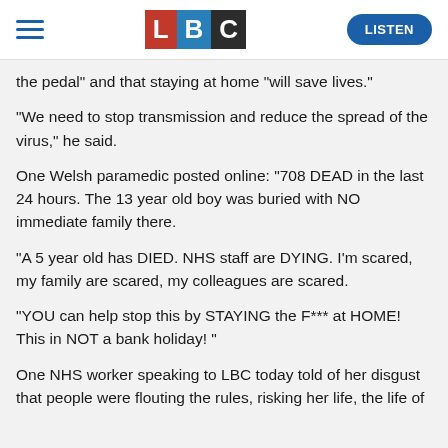[Figure (logo): LBC radio logo with L in red, B in blue, C in dark/black boxes, with hamburger menu on left and LISTEN button on right]
the pedal" and that staying at home “will save lives.”
“We need to stop transmission and reduce the spread of the virus,” he said.
One Welsh paramedic posted online: “708 DEAD in the last 24 hours. The 13 year old boy was buried with NO immediate family there.
"A 5 year old has DIED. NHS staff are DYING. I’m scared, my family are scared, my colleagues are scared.
"YOU can help stop this by STAYING the F*** at HOME! This in NOT a bank holiday! "
One NHS worker speaking to LBC today told of her disgust that people were flouting the rules, risking her life, the life of